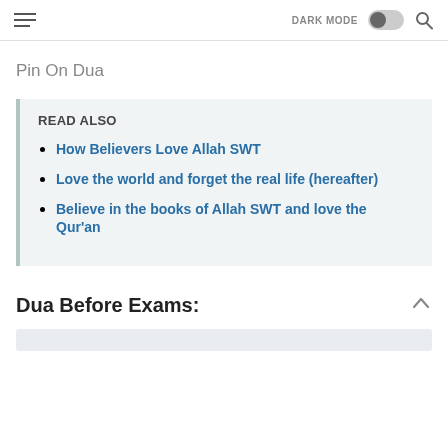DARK MODE [toggle] [search]
Pin On Dua
READ ALSO
How Believers Love Allah SWT
Love the world and forget the real life (hereafter)
Believe in the books of Allah SWT and love the Qur'an
Dua Before Exams: